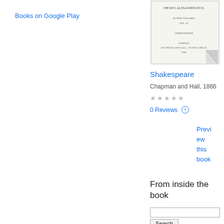Books on Google Play
[Figure (illustration): Book cover thumbnail for Shakespeare, published by Chapman and Hall, 1866. Shows title page with text in nine volumes, vol. IV, London: Chapman and Hall, 193 Piccadilly, 1866, with a curled page corner effect.]
Shakespeare
Chapman and Hall, 1866
★★★★★ (empty stars)
0 Reviews ℹ
Preview this book
From inside the book